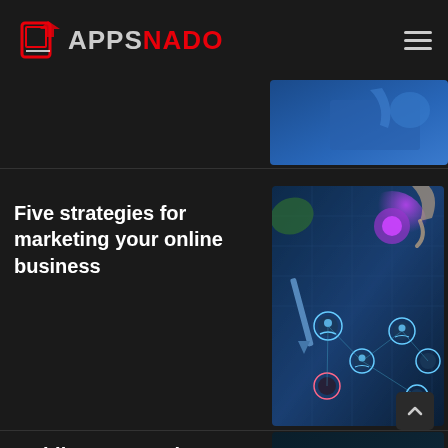APPSNADO
[Figure (screenshot): Partial blue-toned website banner image at top of page]
Five strategies for marketing your online business
[Figure (illustration): Digital marketing network concept illustration with hand touching glowing nodes and social media icons on dark blue background]
Mobile App Development Mistakes to
[Figure (illustration): Teal/cyan colored mobile app or device illustration on dark background]